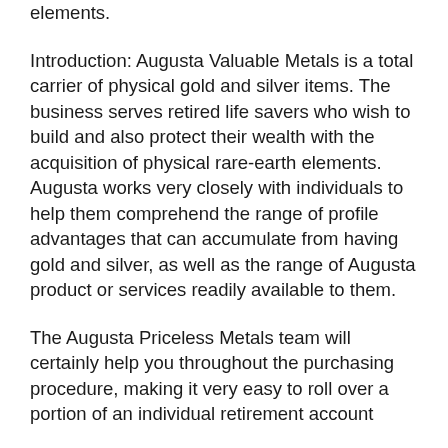elements.
Introduction: Augusta Valuable Metals is a total carrier of physical gold and silver items. The business serves retired life savers who wish to build and also protect their wealth with the acquisition of physical rare-earth elements. Augusta works very closely with individuals to help them comprehend the range of profile advantages that can accumulate from having gold and silver, as well as the range of Augusta product or services readily available to them.
The Augusta Priceless Metals team will certainly help you throughout the purchasing procedure, making it very easy to roll over a portion of an individual retirement account